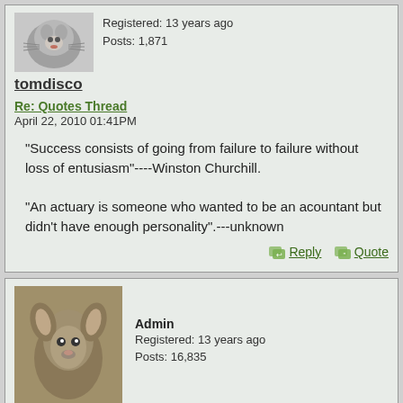tomdisco
Registered: 13 years ago
Posts: 1,871
Re: Quotes Thread
April 22, 2010 01:41PM
"Success consists of going from failure to failure without loss of entusiasm"----Winston Churchill.

"An actuary is someone who wanted to be an acountant but didn't have enough personality".---unknown
Reply
Quote
eeek
Admin
Registered: 13 years ago
Posts: 16,835
Re: Quotes Thread
April 22, 2010 08:55PM